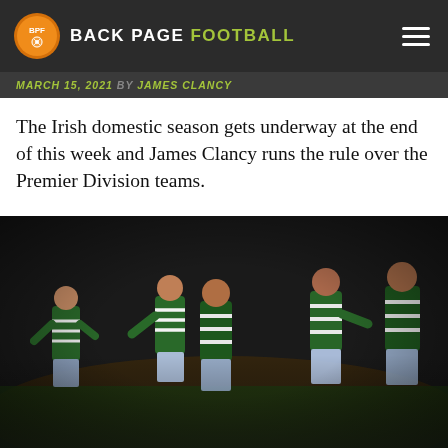BACK PAGE FOOTBALL
MARCH 15, 2021 BY JAMES CLANCY
The Irish domestic season gets underway at the end of this week and James Clancy runs the rule over the Premier Division teams.
[Figure (photo): Football players in green and white hooped jerseys (Shamrock Rovers) celebrating on a pitch at night]